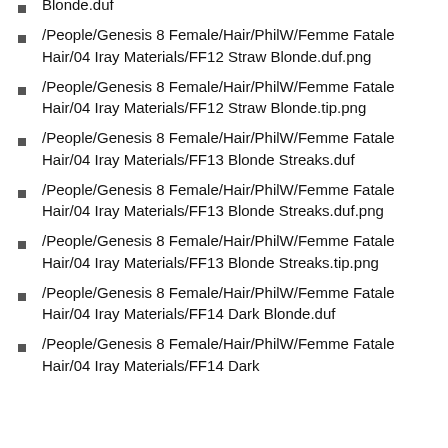Blonde.duf
/People/Genesis 8 Female/Hair/PhilW/Femme Fatale Hair/04 Iray Materials/FF12 Straw Blonde.duf.png
/People/Genesis 8 Female/Hair/PhilW/Femme Fatale Hair/04 Iray Materials/FF12 Straw Blonde.tip.png
/People/Genesis 8 Female/Hair/PhilW/Femme Fatale Hair/04 Iray Materials/FF13 Blonde Streaks.duf
/People/Genesis 8 Female/Hair/PhilW/Femme Fatale Hair/04 Iray Materials/FF13 Blonde Streaks.duf.png
/People/Genesis 8 Female/Hair/PhilW/Femme Fatale Hair/04 Iray Materials/FF13 Blonde Streaks.tip.png
/People/Genesis 8 Female/Hair/PhilW/Femme Fatale Hair/04 Iray Materials/FF14 Dark Blonde.duf
/People/Genesis 8 Female/Hair/PhilW/Femme Fatale Hair/04 Iray Materials/FF14 Dark